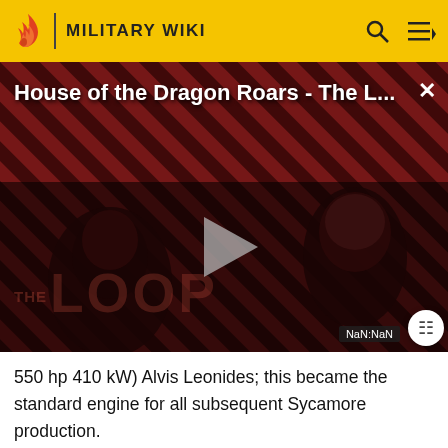MILITARY WIKI
[Figure (screenshot): Video player showing 'House of the Dragon Roars - The L...' with play button, diagonal stripe background, silhouettes of people, THE LOOP text watermark, NaN:NaN time display]
550 hp 410 kW) Alvis Leonides; this became the standard engine for all subsequent Sycamore production.
Bristol's key development pilots for the Type 171 included Charles "Sox" Hosegood and Col. Robert "Bob" Smith, both test pilots with Bristol.